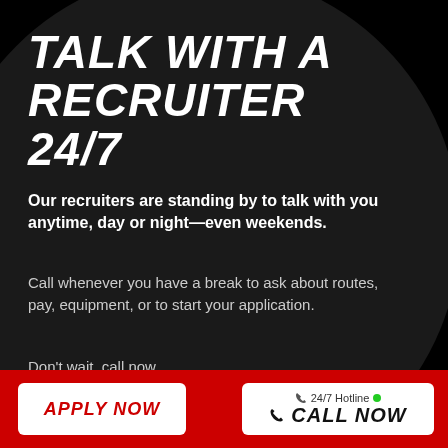TALK WITH A RECRUITER 24/7
Our recruiters are standing by to talk with you anytime, day or night—even weekends.
Call whenever you have a break to ask about routes, pay, equipment, or to start your application.
Don't wait, call now.
[Figure (illustration): Chat bubble with text 'Chat with our Recruiting Assistant' and a circular avatar photo of a female recruiter in red shirt]
APPLY NOW
24/7 Hotline CALL NOW